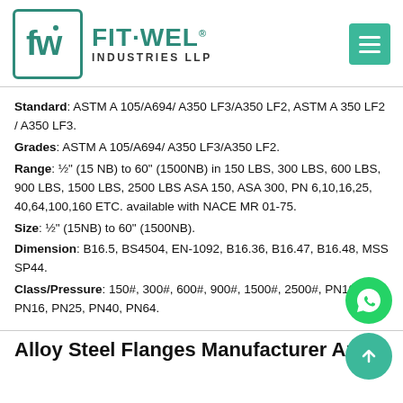FIT-WEL INDUSTRIES LLP
Standard: ASTM A 105/A694/ A350 LF3/A350 LF2, ASTM A 350 LF2 / A350 LF3.
Grades: ASTM A 105/A694/ A350 LF3/A350 LF2.
Range: ½" (15 NB) to 60" (1500NB) in 150 LBS, 300 LBS, 600 LBS, 900 LBS, 1500 LBS, 2500 LBS ASA 150, ASA 300, PN 6,10,16,25, 40,64,100,160 ETC. available with NACE MR 01-75.
Size: ½" (15NB) to 60" (1500NB).
Dimension: B16.5, BS4504, EN-1092, B16.36, B16.47, B16.48, MSS SP44.
Class/Pressure: 150#, 300#, 600#, 900#, 1500#, 2500#, PN10, PN16, PN25, PN40, PN64.
Alloy Steel Flanges Manufacturer And